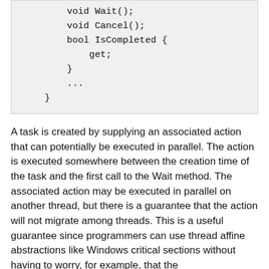void Wait();
        void Cancel();
        bool IsCompleted {
            get;
        }
        ...
    }
A task is created by supplying an associated action that can potentially be executed in parallel. The action is executed somewhere between the creation time of the task and the first call to the Wait method. The associated action may be executed in parallel on another thread, but there is a guarantee that the action will not migrate among threads. This is a useful guarantee since programmers can use thread affine abstractions like Windows critical sections without having to worry, for example, that the LeaveCriticalSection is executed in a different thread than the EnterCriticalSection. If a task is already completed, Wait